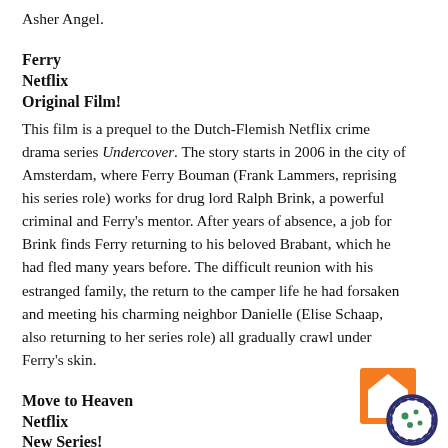Asher Angel.
Ferry
Netflix
Original Film!
This film is a prequel to the Dutch-Flemish Netflix crime drama series Undercover. The story starts in 2006 in the city of Amsterdam, where Ferry Bouman (Frank Lammers, reprising his series role) works for drug lord Ralph Brink, a powerful criminal and Ferry's mentor. After years of absence, a job for Brink finds Ferry returning to his beloved Brabant, which he had fled many years before. The difficult reunion with his estranged family, the return to the camper life he had forsaken and meeting his charming neighbor Danielle (Elise Schaap, also returning to her series role) all gradually crawl under Ferry's skin.
Move to Heaven
Netflix
New Series!
This inspiring Korean drama follows Geu-ru (Tang Jun-sang), a
[Figure (logo): Cookie consent or similar logo: orange square background with a white house/cookie icon and a dark blue outlined cookie with dots]